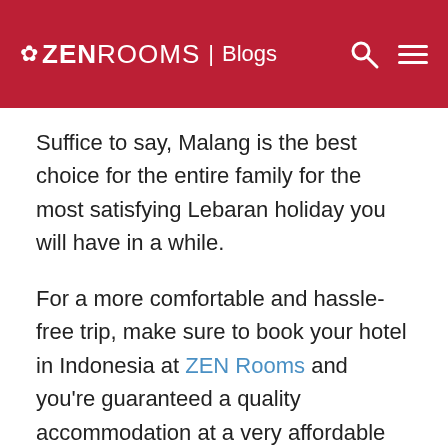ZEN ROOMS | Blogs
Suffice to say, Malang is the best choice for the entire family for the most satisfying Lebaran holiday you will have in a while.
For a more comfortable and hassle-free trip, make sure to book your hotel in Indonesia at ZEN Rooms and you're guaranteed a quality accommodation at a very affordable price!
Disclaimer: ZEN Rooms claims no credit for images featured on our blog site unless otherwise noted. All visual content is copyrighted to its respectful owners. We try to link back to original sources whenever possible. If you own the rights to any of the images, and do not wish them to appear on ZEN Rooms, please contact us and they will be